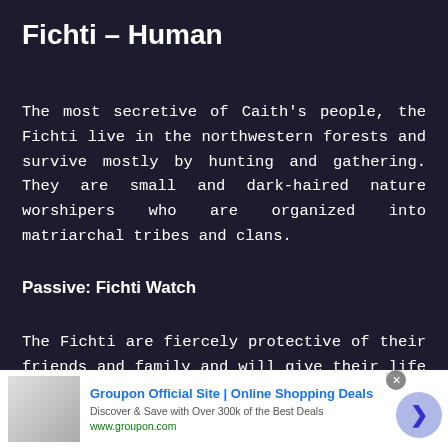Fichti – Human
The most secretive of Caith's people, the Fichti live in the northwestern forests and survive mostly by hunting and gathering. They are small and dark-haired nature worshipers who are organized into matriarchal tribes and clans.
Passive: Fichti Watch
The Fichti are fiercely protective of their friends and family and will give their life for them if need be. Once per battle, a Fichti will absorb damage from an ally that would otherwise kill them.
[Figure (other): Groupon advertisement banner at the bottom of the page showing ad image, title 'Groupon Official Site | Online Shopping Deals', description 'Discover & Save with Over 300k of the Best Deals', URL 'www.groupon.com', a close button, and a forward arrow button]